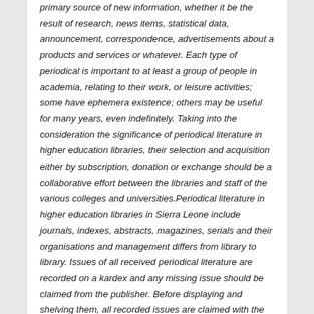primary source of new information, whether it be the result of research, news items, statistical data, announcement, correspondence, advertisements about a products and services or whatever. Each type of periodical is important to at least a group of people in academia, relating to their work, or leisure activities; some have ephemera existence; others may be useful for many years, even indefinitely. Taking into the consideration the significance of periodical literature in higher education libraries, their selection and acquisition either by subscription, donation or exchange should be a collaborative effort between the libraries and staff of the various colleges and universities.Periodical literature in higher education libraries in Sierra Leone include journals, indexes, abstracts, magazines, serials and their organisations and management differs from library to library. Issues of all received periodical literature are recorded on a kardex and any missing issue should be claimed from the publisher. Before displaying and shelving them, all recorded issues are claimed with the ex libri stamp of the library in question. When all the issues to complete a volume are received, they are then put together to be sent